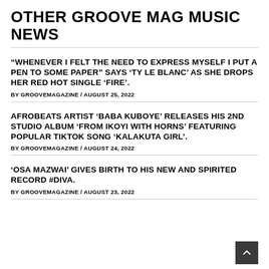OTHER GROOVE MAG MUSIC NEWS
“WHENEVER I FELT THE NEED TO EXPRESS MYSELF I PUT A PEN TO SOME PAPER” SAYS ‘TY LE BLANC’ AS SHE DROPS HER RED HOT SINGLE ‘FIRE’.
BY GROOVEMAGAZINE / AUGUST 25, 2022
AFROBEATS ARTIST ‘BABA KUBOYE’ RELEASES HIS 2ND STUDIO ALBUM ‘FROM IKOYI WITH HORNS’ FEATURING POPULAR TIKTOK SONG ‘KALAKUTA GIRL’.
BY GROOVEMAGAZINE / AUGUST 24, 2022
‘OSA MAZWAI’ GIVES BIRTH TO HIS NEW AND SPIRITED RECORD #DIVA.
BY GROOVEMAGAZINE / AUGUST 23, 2022